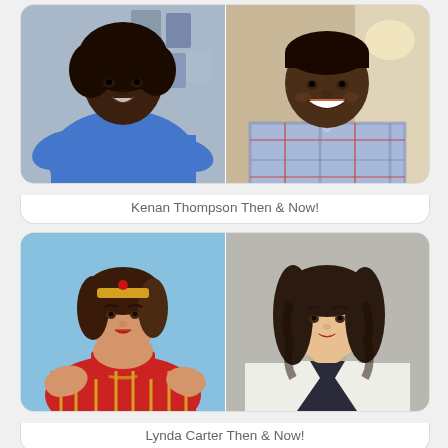[Figure (photo): Two-photo collage: left photo shows Kenan Thompson as a young child in a blue shirt; right photo shows Kenan Thompson as an adult smiling in a plaid shirt]
Kenan Thompson Then & Now!
[Figure (photo): Two-photo collage: left photo shows Lynda Carter in Wonder Woman costume with gold tiara; right photo shows Lynda Carter as an older woman with long dark wavy hair in white blazer]
Lynda Carter Then & Now!